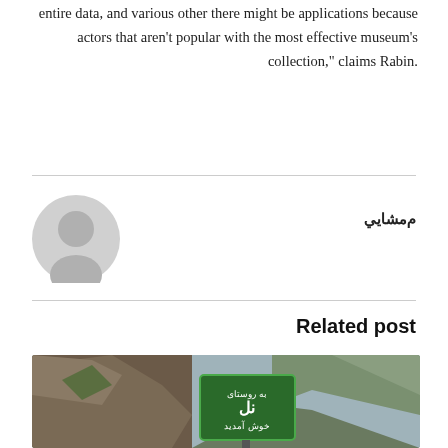entire data, and various other there might be applications because actors that aren't popular with the most effective museum's collection," claims Rabin.
م‌مشايي
Related post
[Figure (photo): A green Persian road sign reading 'به روستای نل خوش آمدید' mounted on a post, surrounded by rocky mountain terrain and overcast sky.]